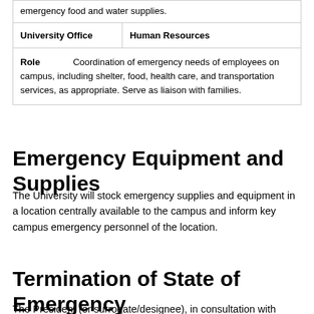| emergency food and water supplies. |
| University Office | Human Resources |
| Role | Coordination of emergency needs of employees on campus, including shelter, food, health care, and transportation services, as appropriate. Serve as liaison with families. |
Emergency Equipment and Supplies
The University will stock emergency supplies and equipment in a location centrally available to the campus and inform key campus emergency personnel of the location.
Termination of State of Emergency
The President (or surrogate/designee), in consultation with